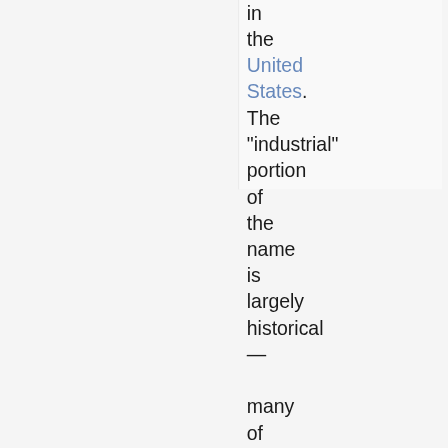in the United States. The "industrial" portion of the name is largely historical — many of